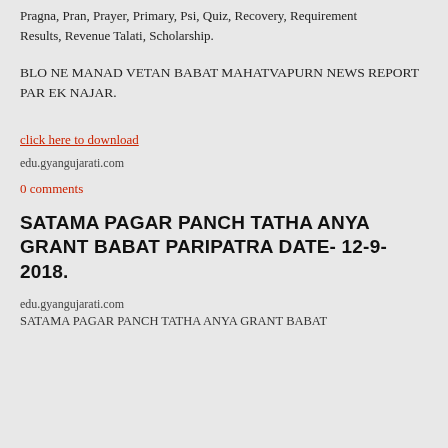Pragna, Pran, Prayer, Primary, Psi, Quiz, Recovery, Requirement, Results, Revenue Talati, Scholarship.
BLO NE MANAD VETAN BABAT MAHATVAPURN NEWS REPORT PAR EK NAJAR.
click here to download
edu.gyangujarati.com
0 comments
SATAMA PAGAR PANCH TATHA ANYA GRANT BABAT PARIPATRA DATE- 12-9-2018.
edu.gyangujarati.com
SATAMA PAGAR PANCH TATHA ANYA GRANT BABAT